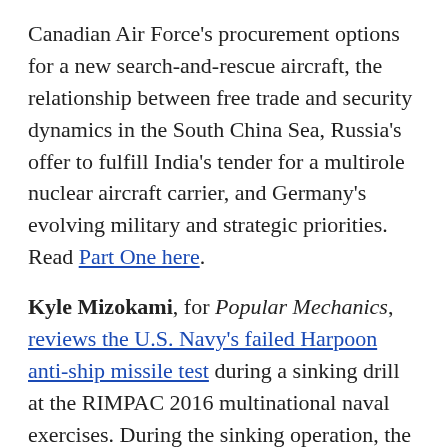Canadian Air Force's procurement options for a new search-and-rescue aircraft, the relationship between free trade and security dynamics in the South China Sea, Russia's offer to fulfill India's tender for a multirole nuclear aircraft carrier, and Germany's evolving military and strategic priorities. Read Part One here.
Kyle Mizokami, for Popular Mechanics, reviews the U.S. Navy's failed Harpoon anti-ship missile test during a sinking drill at the RIMPAC 2016 multinational naval exercises. During the sinking operation, the littoral combat ship USS Coronado launched a Harpoon 1C missile at the retired frigate USS Crommelin, which was 20 miles away. He explains that that the Navy is investigating why the missile was lost from radar contact and never impacted the target ship. The missile exercise